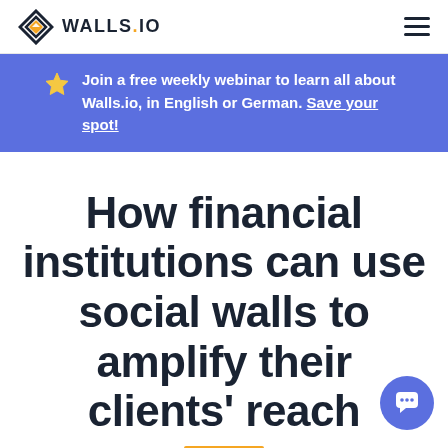[Figure (logo): Walls.io logo with diamond/arrow icon and WALLS.IO text in bold]
Join a free weekly webinar to learn all about Walls.io, in English or German. Save your spot!
How financial institutions can use social walls to amplify their clients' reach